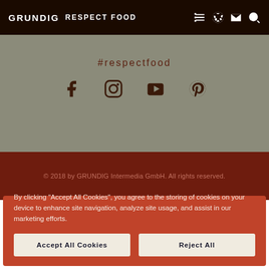GRUNDIG RESPECT FOOD
#respectfood
[Figure (other): Social media icons: Facebook, Instagram, YouTube, Pinterest]
© 2018 by GRUNDIG Intermedia GmbH. All rights reserved.
By clicking "Accept All Cookies", you agree to the storing of cookies on your device to enhance site navigation, analyze site usage, and assist in our marketing efforts.
Accept All Cookies | Reject All